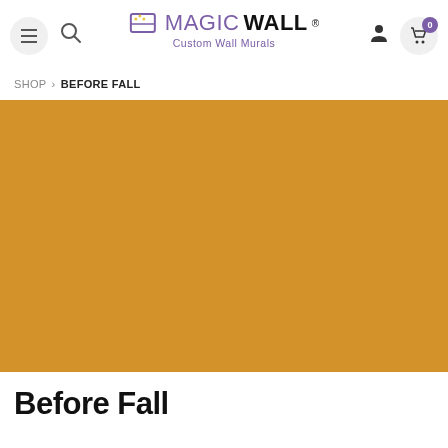MagicWall® Custom Wall Murals — navigation header
SHOP > BEFORE FALL
[Figure (photo): A repeating pattern wallpaper showing stylized tropical monstera leaves in light golden yellow on an amber/orange-yellow background. The leaves overlap and tile across the entire image area.]
Before Fall